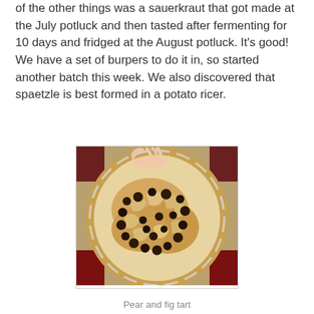of the other things was a sauerkraut that got made at the July potluck and then tasted after fermenting for 10 days and fridged at the August potluck. It's good! We have a set of burpers to do it in, so started another batch this week. We also discovered that spaetzle is best formed in a potato ricer.
[Figure (photo): A round metal baking pan held by a hand, containing a pear and fig tart with visible fruit pieces and dark dried figs scattered on top of a golden pastry base.]
Pear and fig tart